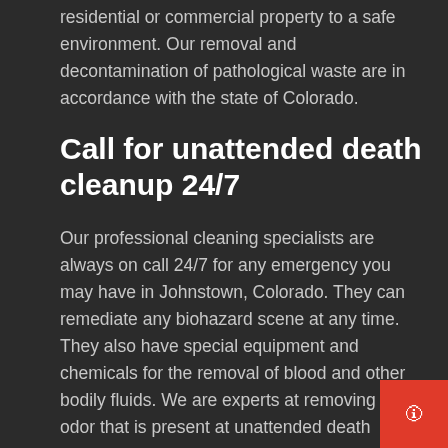residential or commercial property to a safe environment. Our removal and decontamination of pathological waste are in accordance with the state of Colorado.
Call for unattended death cleanup 24/7
Our professional cleaning specialists are always on call 24/7 for any emergency you may have in Johnstown, Colorado. They can remediate any biohazard scene at any time. They also have special equipment and chemicals for the removal of blood and other bodily fluids. We are experts at removing the odor that is present at unattended death
[Figure (other): Red square button with arrow icon in bottom-right corner]